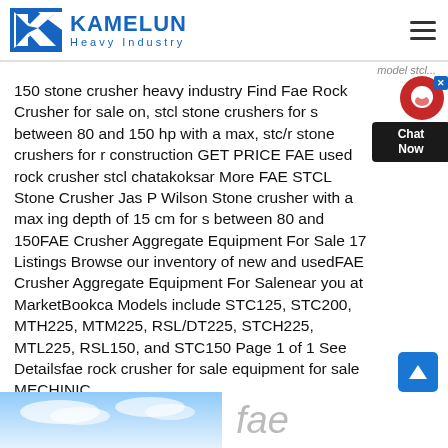[Figure (logo): Kamelun Heavy Industry logo with blue K icon and company name]
150 stone crusher heavy industry Find Fae Rock Crusher for sale on, stcl stone crushers for s between 80 and 150 hp with a max, stc/r stone crushers for r construction GET PRICE FAE used rock crusher stcl chatakoksar More FAE STCL Stone Crusher Jas P Wilson Stone crusher with a max ing depth of 15 cm for s between 80 and 150FAE Crusher Aggregate Equipment For Sale 17 Listings Browse our inventory of new and usedFAE Crusher Aggregate Equipment For Salenear you at MarketBookca Models include STC125, STC200, MTH225, MTM225, RSL/DT225, STCH225, MTL225, RSL150, and STC150 Page 1 of 1 See Detailsfae rock crusher for sale equipment for sale MECHINIC
[Figure (photo): Partial bottom image showing sky with clouds, and 'fae' text partially visible]